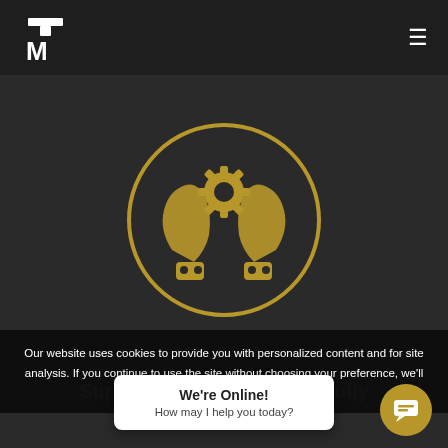TM logo and hamburger menu navigation
[Figure (illustration): Gold circular icon with two cupped hands holding a gear/cog, on dark background. Represents a service or support plan concept.]
Our website uses cookies to provide you with personalized content and for site analysis. If you continue to use the site without choosing your preference, we'll assume that you're fine with
Support Plan from DIY to Fully
including
We're Online! How may I help you today?
[Figure (screenshot): Live chat popup bubble with message icon in gold circle, bottom right corner]